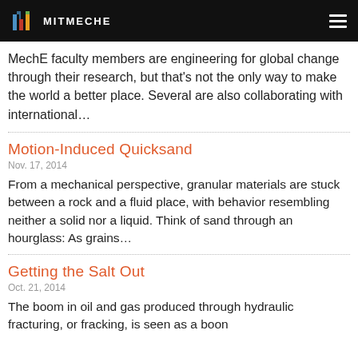MITMECHE
MechE faculty members are engineering for global change through their research, but that's not the only way to make the world a better place. Several are also collaborating with international…
Motion-Induced Quicksand
Nov. 17, 2014
From a mechanical perspective, granular materials are stuck between a rock and a fluid place, with behavior resembling neither a solid nor a liquid. Think of sand through an hourglass: As grains…
Getting the Salt Out
Oct. 21, 2014
The boom in oil and gas produced through hydraulic fracturing, or fracking, is seen as a boon